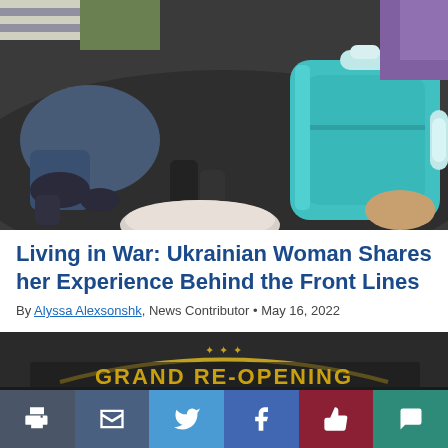[Figure (photo): Overhead view of people's legs and feet crowded together on a dark floor, with a teal/turquoise hard-shell suitcase visible on the right side.]
Living in War: Ukrainian Woman Shares her Experience Behind the Front Lines
By Alyssa Alexsonshk, News Contributor • May 16, 2022
[Figure (photo): Partial view of a banner reading 'GRAND RE-OPENING' with decorative lettering against a dark background.]